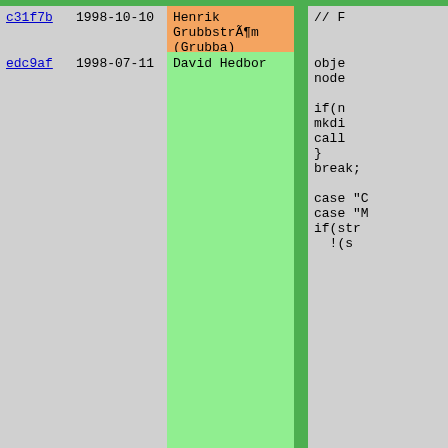| hash | date | author |  | code |
| --- | --- | --- | --- | --- |
| c31f7b | 1998-10-10 | Henrik GrubbstrÃ¶m (Grubba) |  | // F |
| edc9af | 1998-07-11 | David Hedbor |  | obje
node

if(n
mkdi
call
}
break;

case "C
case "M
if(str
!(s |
| c31f7b | 1998-10-10 | Henrik GrubbstrÃ¶m (Grubba) |  | retu |
| ee8b20 | 1998-07-13 | David Hedbor |  | break;

case "a
if (va
  rest
else
  remo
break;

case "s
if (va
  call |